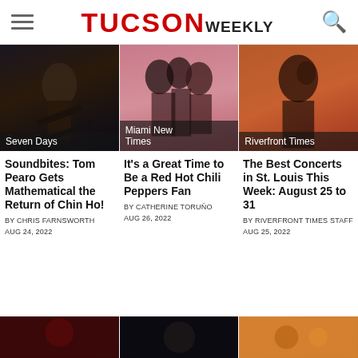TUCSON WEEKLY
[Figure (photo): Guitarist performing on stage, dark background - Seven Days]
[Figure (photo): Red Hot Chili Peppers band members posed together on pink background - Miami New Times]
[Figure (photo): Young male musician posing, orange/red background - Riverfront Times]
Soundbites: Tom Pearo Gets Mathematical the Return of Chin Ho!
BY CHRIS FARNSWORTH
AUG 24, 2022
It's a Great Time to Be a Red Hot Chili Peppers Fan
BY CATHERINE TORUÑO
AUG 26, 2022
The Best Concerts in St. Louis This Week: August 25 to 31
BY RIVERFRONT TIMES STAFF
AUG 25, 2022
[Figure (photo): Concert photo, dark reddish tones - bottom left]
[Figure (photo): Concert performer on stage, dark - bottom center]
[Figure (photo): Close-up colorful abstract or instrument photo - bottom right]